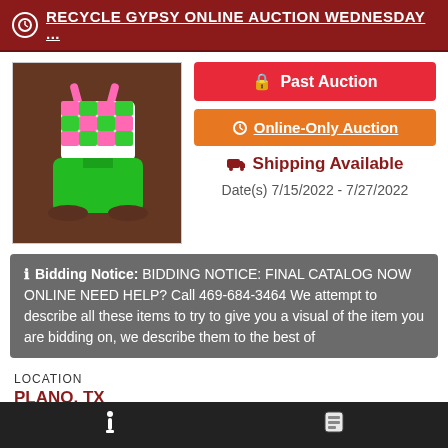RECYCLE GYPSY ONLINE AUCTION WEDNESDAY ...
[Figure (photo): Photo of a children's green and pink checkered swimsuit/leotard laid flat on a dark wood table]
Past Auction
Online-Only Auction
Shipping Available
Date(s) 7/15/2022 - 7/27/2022
Bidding Notice: BIDDING NOTICE: FINAL CATALOG NOW ONLINE NEED HELP? Call 469-684-3464 We attempt to describe all these items to try to give you a visual of the item you are bidding on, we describe them to the best of
LOCATION
PLANO, TX